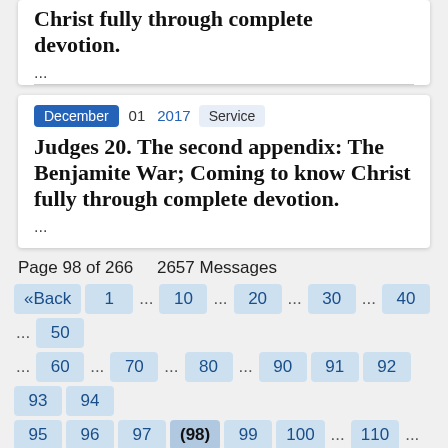Christ fully through complete devotion.
...
December  01  2017  Service
Judges 20. The second appendix: The Benjamite War; Coming to know Christ fully through complete devotion.
...
Page 98 of 266    2657 Messages
«Back  1  ...  10  ...  20  ...  30  ...  40  ...  50  ...  60  ...  70  ...  80  ...  90  91  92  93  94  95  96  97  (98)  99  100  ...  110  ...  120